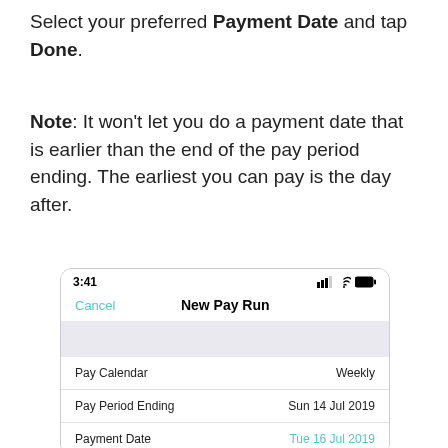Select your preferred Payment Date and tap Done.
Note: It won't let you do a payment date that is earlier than the end of the pay period ending. The earliest you can pay is the day after.
[Figure (screenshot): Mobile app screenshot showing a 'New Pay Run' screen with status bar showing 3:41, Cancel button, and a list with Pay Calendar (Weekly), Pay Period Ending (Sun 14 Jul 2019), and Payment Date (Tue 16 Jul 2019 in teal).]